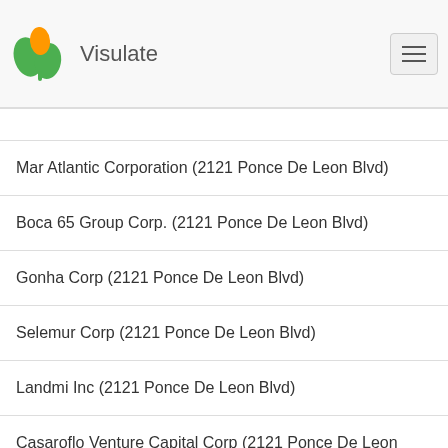Visulate
Mar Atlantic Corporation (2121 Ponce De Leon Blvd)
Boca 65 Group Corp. (2121 Ponce De Leon Blvd)
Gonha Corp (2121 Ponce De Leon Blvd)
Selemur Corp (2121 Ponce De Leon Blvd)
Landmi Inc (2121 Ponce De Leon Blvd)
Casaroflo Venture Capital Corp (2121 Ponce De Leon Blvd)
Hfdynamic Corporation (2121 Ponce De Leon Blvd)
Brd Real Estate Inc (2121 Ponce De Leon Blvd)
Tecnycom Usa Corp (2121 Ponce De Leon Blvd)